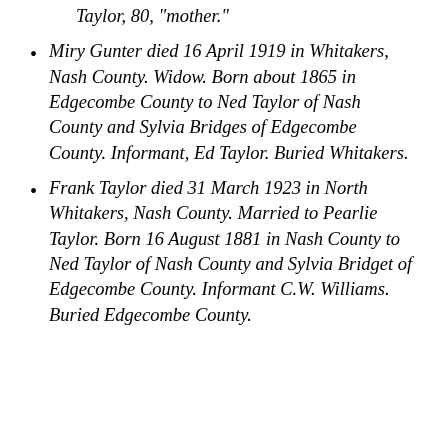Taylor, 80, mother.
Miry Gunter died 16 April 1919 in Whitakers, Nash County. Widow. Born about 1865 in Edgecombe County to Ned Taylor of Nash County and Sylvia Bridges of Edgecombe County. Informant, Ed Taylor. Buried Whitakers.
Frank Taylor died 31 March 1923 in North Whitakers, Nash County. Married to Pearlie Taylor. Born 16 August 1881 in Nash County to Ned Taylor of Nash County and Sylvia Bridget of Edgecombe County. Informant C.W. Williams. Buried Edgecombe County.